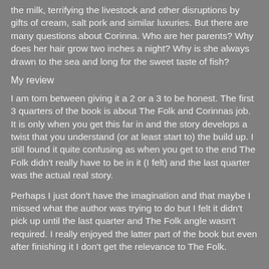the milk, terrifying the livestock and other disruptions by gifts of cream, salt pork and similar luxuries. But there are many questions about Corinna. Who are her parents? Why does her hair grow two inches a night? Why is she always drawn to the sea and long for the sweet taste of fish?
My review
I am torn between giving it a 2 or a 3 to be honest. The first 3 quarters of the book is about The Folk and Corinnas job. It is only when you get this far in and the story develops a twist that you understand (or at least start to) the build up. I still found it quite confusing as when you get to the end The Folk didn't really have to be in it (I felt) and the last quarter was the actual real story.
Perhaps I just don't have the imagination and that maybe I missed what the author was trying to do but I felt it didn't pick up until the last quarter and The Folk angle wasn't required. I really enjoyed the latter part of the book but even after finishing it I don't get the relevance to The Folk.